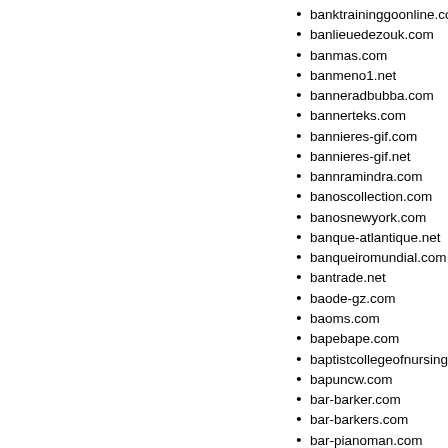banktraininggoonline.com
banlieuedezouk.com
banmas.com
banmeno1.net
banneradbubba.com
bannerteks.com
bannieres-gif.com
bannieres-gif.net
bannramindra.com
banoscollection.com
banosnewyork.com
banque-atlantique.net
banqueiromundial.com
bantrade.net
baode-gz.com
baoms.com
bapebape.com
baptistcollegeofnursing.com
bapuncw.com
bar-barker.com
bar-barkers.com
bar-pianoman.com
bar-sagara.com
barajassubcontracting.com
baratapacific.com
barbara2005.com
barbaraallen.net
barbarahk.com